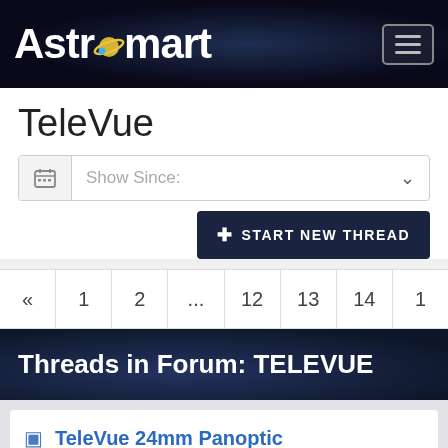Astromart
TeleVue
Show Since:
START NEW THREAD
« 1 2 ... 12 13 14 1
Threads in Forum: TELEVUE
TeleVue 24mm Panoptic
Started by Bill Vance, 12/13/2002 09:19PM